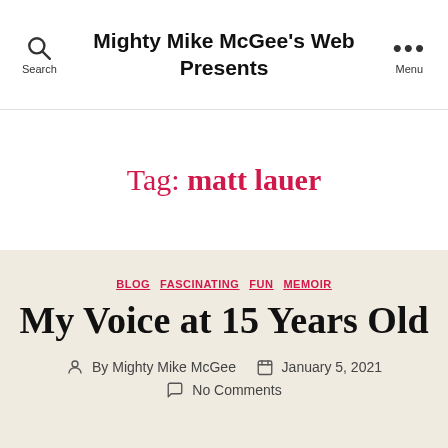Mighty Mike McGee's Web Presents
Tag: matt lauer
BLOG  FASCINATING  FUN  MEMOIR
My Voice at 15 Years Old
By Mighty Mike McGee  January 5, 2021  No Comments